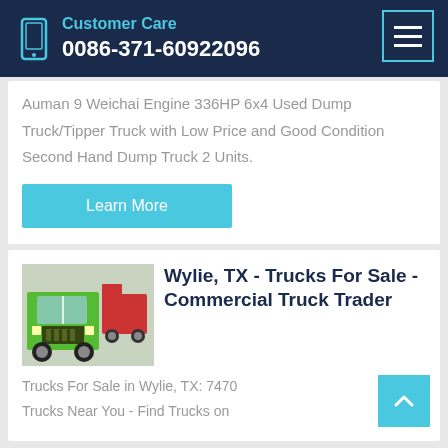Customer Care
0086-371-60922096
Auman 9 Weichai Engine 336HP 6x4 Used Dump Truck/Tipper Truck with Low Price and Good Condition Second Hand Dump Truck 2 Units.
Learn More
[Figure (photo): Green dump truck photographed from the front in a yard]
Wylie, TX - Trucks For Sale - Commercial Truck Trader
Trucks For Sale in Wylie, TX: 7470 Trucks Near You - Find Trucks on